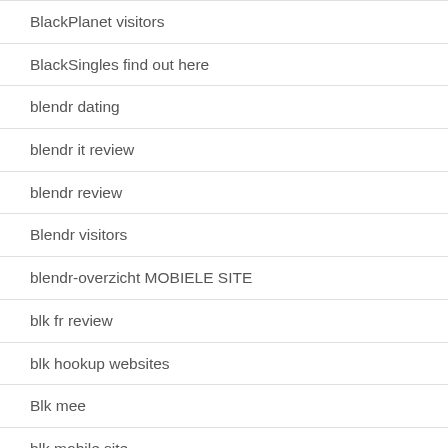BlackPlanet visitors
BlackSingles find out here
blendr dating
blendr it review
blendr review
Blendr visitors
blendr-overzicht MOBIELE SITE
blk fr review
blk hookup websites
Blk mee
blk mobile site